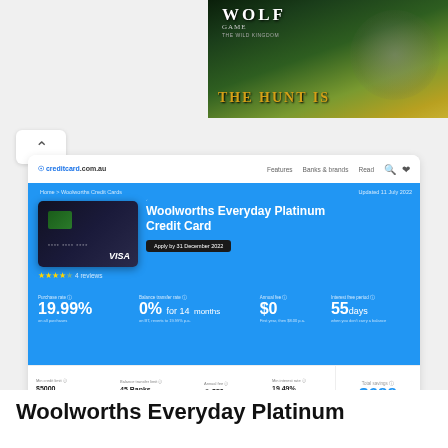[Figure (screenshot): Wolf Game advertisement banner with wolves in a meadow, text THE HUNT IS]
[Figure (screenshot): Creditcard.com.au website showing Woolworths Everyday Platinum Credit Card product page with blue banner, card image, stats: 19.99% purchase rate, 0% for 14 months balance transfer, $0 annual fee first year, 55 days interest free. Savings of $688 shown. Pros and cons section.]
Woolworths Everyday Platinum